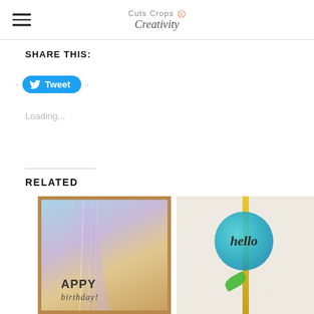Cuts Crops & Creativity
SHARE THIS:
- Tweet -
Loading...
RELATED
[Figure (photo): A handmade birthday card with watercolor background in blue, pink, and tan, with a brown border frame, and text reading 'APPY birthday!']
[Figure (photo): A white greeting card with a teal/blue watercolor circle, 'hello' script text, a green leaf accent, and a yellow vertical stripe, standing upright against a blurred background.]